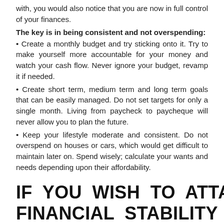with, you would also notice that you are now in full control of your finances.
The key is in being consistent and not overspending:
• Create a monthly budget and try sticking onto it. Try to make yourself more accountable for your money and watch your cash flow. Never ignore your budget, revamp it if needed.
• Create short term, medium term and long term goals that can be easily managed. Do not set targets for only a single month. Living from paycheck to paycheque will never allow you to plan the future.
• Keep your lifestyle moderate and consistent. Do not overspend on houses or cars, which would get difficult to maintain later on. Spend wisely; calculate your wants and needs depending upon their affordability.
IF YOU WISH TO ATTAIN THE FINANCIAL STABILITY THAT YOU ALWAYS LONGED FOR THEN FOLLOW THE ABOVE TIPS SET GOALS AND